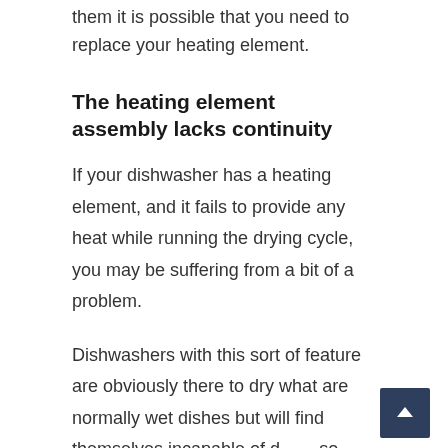them it is possible that you need to replace your heating element.
The heating element assembly lacks continuity
If your dishwasher has a heating element, and it fails to provide any heat while running the drying cycle, you may be suffering from a bit of a problem.
Dishwashers with this sort of feature are obviously there to dry what are normally wet dishes but will find themselves incapable of doing so when a part malfunctions – one that is usually essential for such an operation.